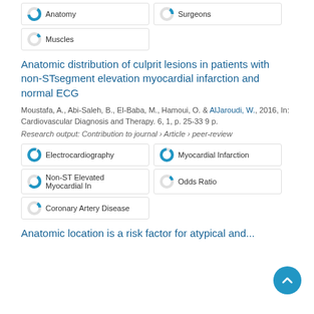Anatomy
Surgeons
Muscles
Anatomic distribution of culprit lesions in patients with non-STsegment elevation myocardial infarction and normal ECG
Moustafa, A., Abi-Saleh, B., El-Baba, M., Hamoui, O. & AlJaroudi, W., 2016, In: Cardiovascular Diagnosis and Therapy. 6, 1, p. 25-33 9 p.
Research output: Contribution to journal › Article › peer-review
Electrocardiography
Myocardial Infarction
Non-ST Elevated Myocardial In
Odds Ratio
Coronary Artery Disease
Anatomic location is a risk factor for atypical and...